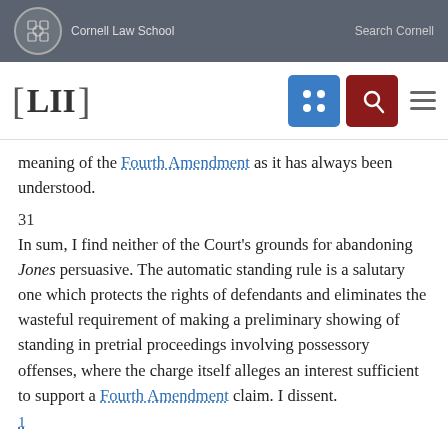Cornell Law School  Search Cornell
[Figure (logo): LII Legal Information Institute logo and navigation bar with grid and search icons]
meaning of the Fourth Amendment as it has always been understood.
31
In sum, I find neither of the Court's grounds for abandoning Jones persuasive. The automatic standing rule is a salutary one which protects the rights of defendants and eliminates the wasteful requirement of making a preliminary showing of standing in pretrial proceedings involving possessory offenses, where the charge itself alleges an interest sufficient to support a Fourth Amendment claim. I dissent.
1